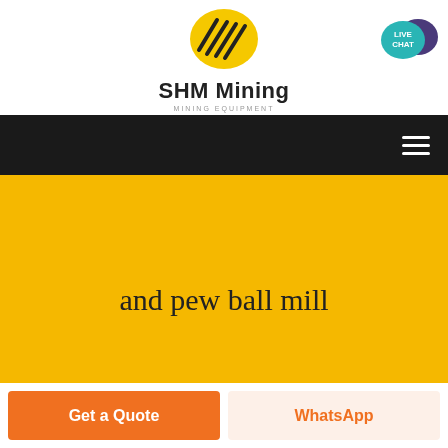[Figure (logo): SHM Mining logo: yellow ellipse with black diagonal lines, text 'SHM Mining' bold and 'MINING EQUIPMENT' subtitle]
[Figure (other): Live Chat badge: teal speech bubble with 'LIVE CHAT' text, dark purple chat bubble behind]
[Figure (other): Black navigation bar with hamburger menu icon (three white horizontal lines) on the right]
and pew ball mill
Get a Quote
WhatsApp